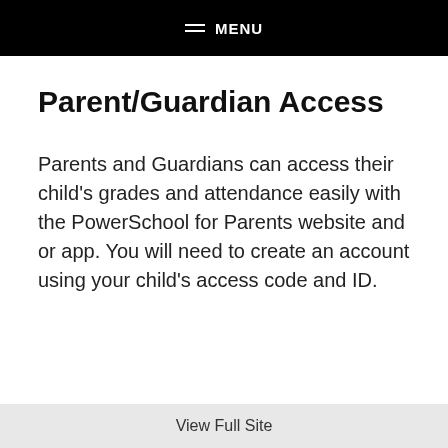MENU
Parent/Guardian Access
Parents and Guardians can access their child's grades and attendance easily with the PowerSchool for Parents website and or app. You will need to create an account using your child's access code and ID.
View Full Site